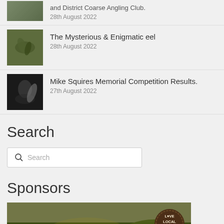[Figure (photo): Partial article thumbnail and date — and District Coarse Angling Club, 28th August 2022]
28th August 2022
[Figure (photo): Thumbnail of an eel being held]
The Mysterious & Enigmatic eel
28th August 2022
[Figure (photo): Thumbnail of Mike Squires Memorial Competition]
Mike Squires Memorial Competition Results.
27th August 2022
Search
Search
Sponsors
[Figure (photo): Sponsor image with artistic landscape and Love Local Food badge]